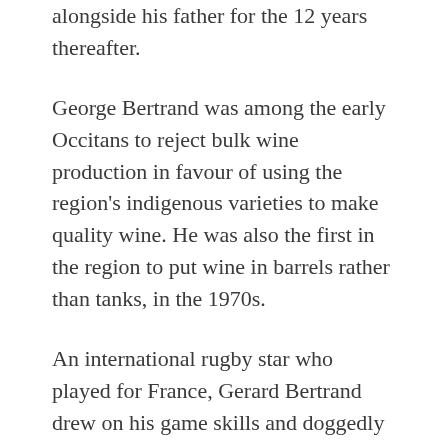alongside his father for the 12 years thereafter.
George Bertrand was among the early Occitans to reject bulk wine production in favour of using the region's indigenous varieties to make quality wine. He was also the first in the region to put wine in barrels rather than tanks, in the 1970s.
An international rugby star who played for France, Gerard Bertrand drew on his game skills and doggedly competitive nature to build the business and change the industry at large. Today his company manages 15 estates, of which 12 are either already farmed biodynamically or on their way. He is also setting the pace for burgeoning wine tourism. He has 3-star Chateau l'Hospitalet — a restored 16th-century building